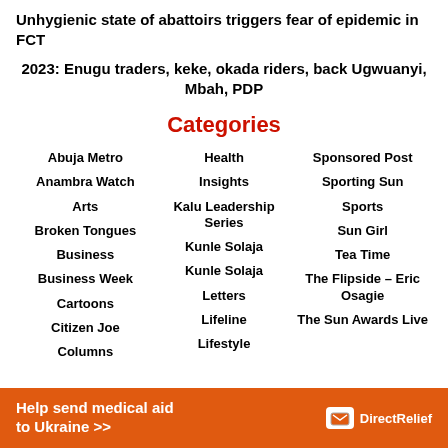Unhygienic state of abattoirs triggers fear of epidemic in FCT
2023: Enugu traders, keke, okada riders, back Ugwuanyi, Mbah, PDP
Categories
Abuja Metro
Health
Sponsored Post
Anambra Watch
Insights
Sporting Sun
Arts
Kalu Leadership Series
Sports
Broken Tongues
Kunle Solaja
Sun Girl
Business
Kunle Solaja
Tea Time
Business Week
Letters
The Flipside – Eric Osagie
Cartoons
Lifeline
The Sun Awards Live
Citizen Joe
Lifestyle
Columns
Help send medical aid to Ukraine >>
[Figure (logo): Direct Relief logo with box icon]